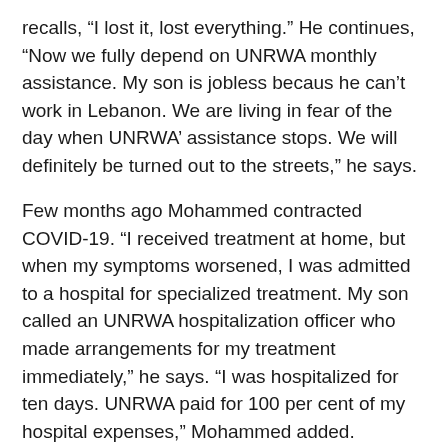recalls, “I lost it, lost everything.” He continues, “Now we fully depend on UNRWA monthly assistance. My son is jobless becaus he can’t work in Lebanon. We are living in fear of the day when UNRWA’ assistance stops. We will definitely be turned out to the streets,” he says.
Few months ago Mohammed contracted COVID-19. “I received treatment at home, but when my symptoms worsened, I was admitted to a hospital for specialized treatment. My son called an UNRWA hospitalization officer who made arrangements for my treatment immediately,” he says. “I was hospitalized for ten days. UNRWA paid for 100 per cent of my hospital expenses,” Mohammed added.
Mohammed’s treatment continues to present day. “Every ten days I need an oxygen treatment. It costs 100,000 L.L and I have to fill it for 70,000L.L. I’m waiting to receive our cash assistance from the Agency to refill my oxygen tube. We